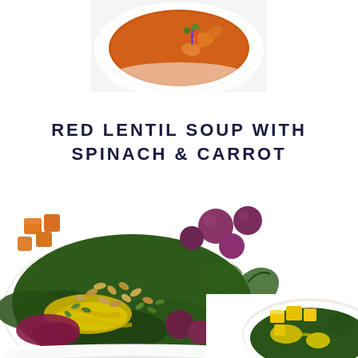[Figure (photo): Top photo of a white bowl containing red lentil soup with carrots in orange broth, partially cropped at top of page]
RED LENTIL SOUP WITH SPINACH & CARROT
[Figure (photo): Large bowl filled with a colorful salad bowl featuring kale, roasted vegetables (orange squash, purple potatoes), seeds (sunflower and pumpkin seeds), red cabbage, and a yellow turmeric dressing, viewed from above]
[Figure (photo): Partial view of a smaller white bowl with yellow mango cubes, kale and yellow dressing, partially cropped at bottom right]